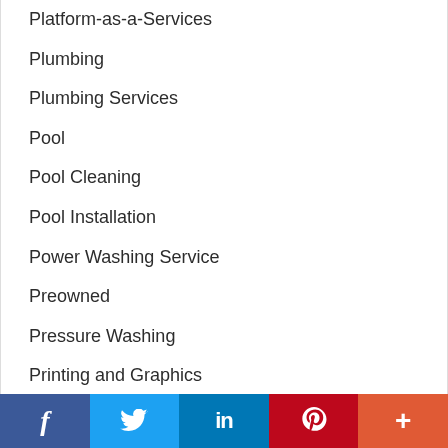Platform-as-a-Services
Plumbing
Plumbing Services
Pool
Pool Cleaning
Pool Installation
Power Washing Service
Preowned
Pressure Washing
Printing and Graphics
Private Investigators
Products
Professional Organizers
Promos
f  Twitter  in  Pinterest  +